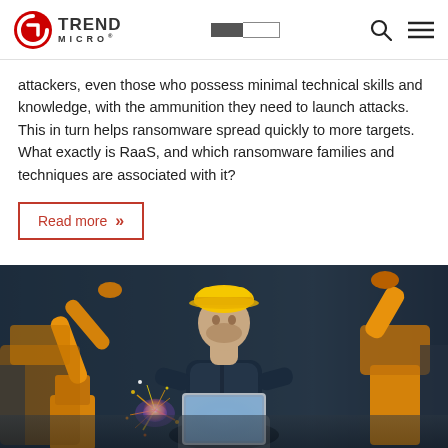Trend Micro
attackers, even those who possess minimal technical skills and knowledge, with the ammunition they need to launch attacks. This in turn helps ransomware spread quickly to more targets. What exactly is RaaS, and which ransomware families and techniques are associated with it?
Read more »
[Figure (photo): A worker wearing a yellow hard hat looks at a laptop computer while surrounded by industrial robotic arms in a factory setting. Sparks are visible from welding nearby.]